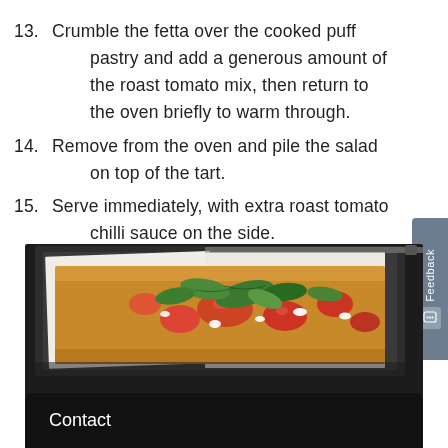13. Crumble the fetta over the cooked puff pastry and add a generous amount of the roast tomato mix, then return to the oven briefly to warm through.
14. Remove from the oven and pile the salad on top of the tart.
15. Serve immediately, with extra roast tomato chilli sauce on the side.
[Figure (photo): A rectangular puff pastry tart topped with roasted tomatoes, greens/salad leaves, and vegetables, sitting in a baking tray lined with baking paper. A knife is visible in the background.]
Contact